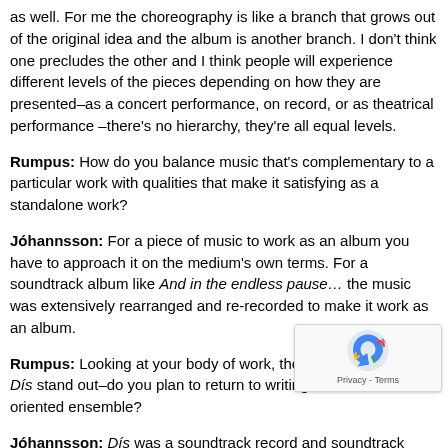as well. For me the choreography is like a branch that grows out of the original idea and the album is another branch. I don't think one precludes the other and I think people will experience different levels of the pieces depending on how they are presented–as a concert performance, on record, or as theatrical performance –there's no hierarchy, they're all equal levels.
Rumpus: How do you balance music that's complementary to a particular work with qualities that make it satisfying as a standalone work?
Jóhannsson: For a piece of music to work as an album you have to approach it on the medium's own terms. For a soundtrack album like And in the endless pause… the music was extensively rearranged and re-recorded to make it work as an album.
Rumpus: Looking at your body of work, the arrangements on Dís stand out–do you plan to return to writing for a more rock-oriented ensemble?
Jóhannsson: Dís was a soundtrack record and soundtrack gives you freedom to experiment with different sounds and s… like to use the opportunity when writing soundtracks to work with